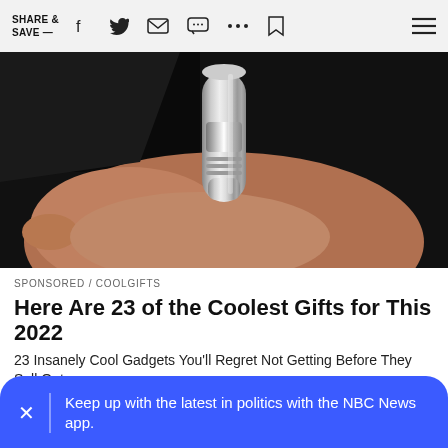SHARE & SAVE —
[Figure (photo): Close-up photo of a hand holding a small silver metallic gadget/device against a dark background]
SPONSORED / COOLGIFTS
Here Are 23 of the Coolest Gifts for This 2022
23 Insanely Cool Gadgets You'll Regret Not Getting Before They Sell Out
Keep up with the latest in politics with the NBC News app.